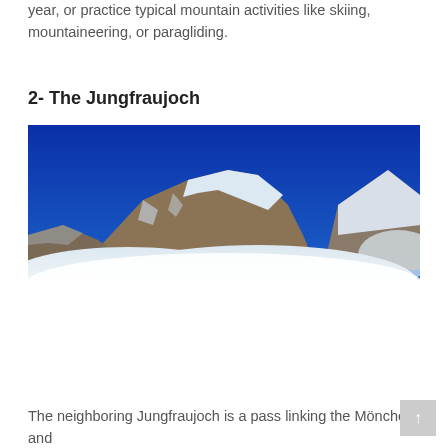year, or practice typical mountain activities like skiing, mountaineering, or paragliding.
2- The Jungfraujoch
[Figure (photo): Photograph of a snow-capped mountain peak (Jungfraujoch area) with a bright blue sky above and white clouds or snow fields below. Rocky ridges with snow and ice are visible.]
The neighboring Jungfraujoch is a pass linking the Mönche and